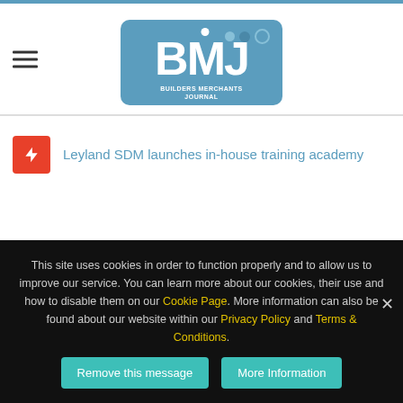[Figure (logo): BMJ Builders Merchants Journal logo - blue rounded rectangle with letters BMJ and subtitle]
Leyland SDM launches in-house training academy
This site uses cookies in order to function properly and to allow us to improve our service. You can learn more about our cookies, their use and how to disable them on our Cookie Page. More information can also be found about our website within our Privacy Policy and Terms & Conditions.
Remove this message | More Information